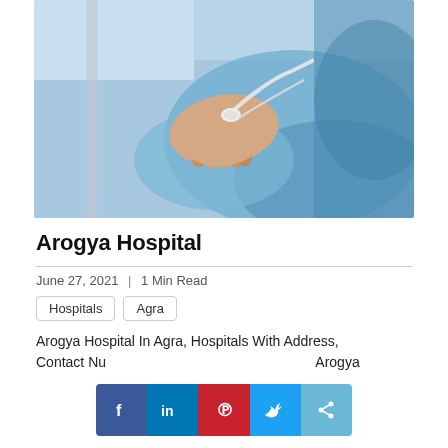[Figure (photo): Hospital patient lying in bed with IV drip cannula inserted in hand, blue hospital gown and bedsheet visible]
Arogya Hospital
June 27, 2021  |  1 Min Read
Hospitals
Agra
Arogya Hospital In Agra, Hospitals With Address, Contact Nu... Arogya
[Figure (infographic): Social media share bar with Facebook, LinkedIn, Pinterest, Twitter, and share buttons]